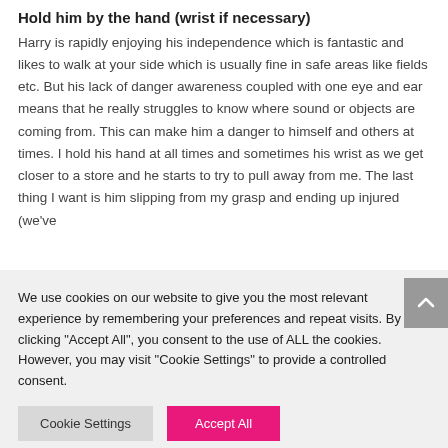Hold him by the hand (wrist if necessary)
Harry is rapidly enjoying his independence which is fantastic and likes to walk at your side which is usually fine in safe areas like fields etc. But his lack of danger awareness coupled with one eye and ear means that he really struggles to know where sound or objects are coming from. This can make him a danger to himself and others at times. I hold his hand at all times and sometimes his wrist as we get closer to a store and he starts to try to pull away from me. The last thing I want is him slipping from my grasp and ending up injured (we've
We use cookies on our website to give you the most relevant experience by remembering your preferences and repeat visits. By clicking "Accept All", you consent to the use of ALL the cookies. However, you may visit "Cookie Settings" to provide a controlled consent.